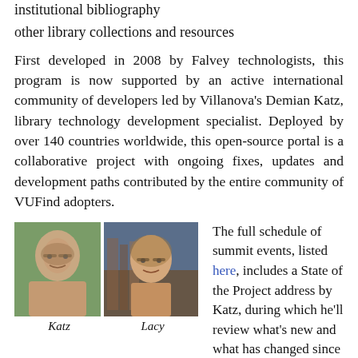institutional bibliography
other library collections and resources
First developed in 2008 by Falvey technologists, this program is now supported by an active international community of developers led by Villanova's Demian Katz, library technology development specialist. Deployed by over 140 countries worldwide, this open-source portal is a collaborative project with ongoing fixes, updates and development paths contributed by the entire community of VUFind adopters.
[Figure (photo): Portrait photo of Katz, a man with glasses and short hair, outdoors with green background]
Katz
[Figure (photo): Portrait photo of Lacy, a man with glasses and longer hair, indoors in front of bookshelves]
Lacy
The full schedule of summit events, listed here, includes a State of the Project address by Katz, during which he'll review what's new and what has changed since the last Summit as well as discuss areas of future work. Also speaking will be Falvey's Technology Team Leader David Lacy,